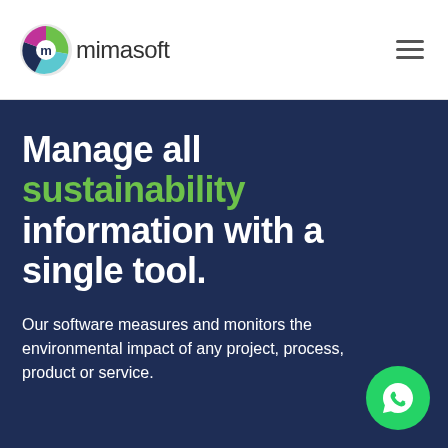mimasoft
Manage all sustainability information with a single tool.
Our software measures and monitors the environmental impact of any project, process, product or service.
[Figure (logo): WhatsApp contact button, green circle with phone handset icon]